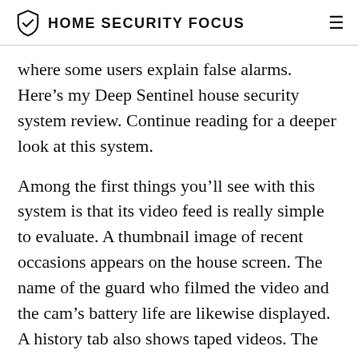HOME SECURITY FOCUS
where some users explain false alarms. Here’s my Deep Sentinel house security system review. Continue reading for a deeper look at this system.
Among the first things you’ll see with this system is that its video feed is really simple to evaluate. A thumbnail image of recent occasions appears on the house screen. The name of the guard who filmed the video and the cam’s battery life are likewise displayed. A history tab also shows taped videos. The